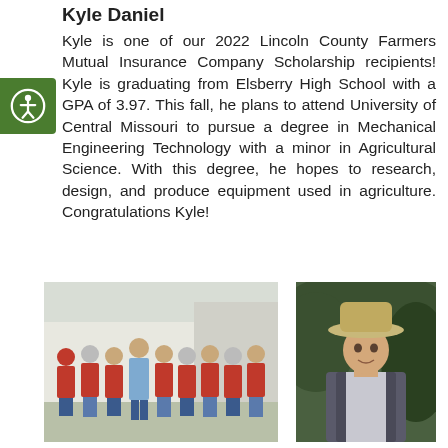Kyle Daniel
Kyle is one of our 2022 Lincoln County Farmers Mutual Insurance Company Scholarship recipients! Kyle is graduating from Elsberry High School with a GPA of 3.97. This fall, he plans to attend University of Central Missouri to pursue a degree in Mechanical Engineering Technology with a minor in Agricultural Science. With this degree, he hopes to research, design, and produce equipment used in agriculture. Congratulations Kyle!
[Figure (photo): Group photo of approximately nine people, most wearing red shirts, standing outdoors near a building.]
[Figure (photo): Portrait of a young man wearing a cowboy hat and a vest, seated outdoors.]